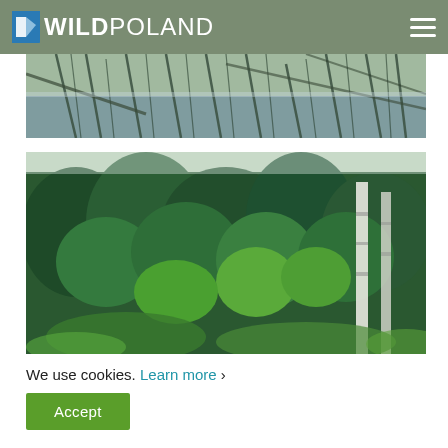WILD POLAND
[Figure (photo): Water reflection with willow trees and branches reflected in still water, black and white tones]
[Figure (photo): Aerial view of dense mixed forest with green deciduous and coniferous trees, birch trees visible on the right]
We use cookies. Learn more ›
Accept